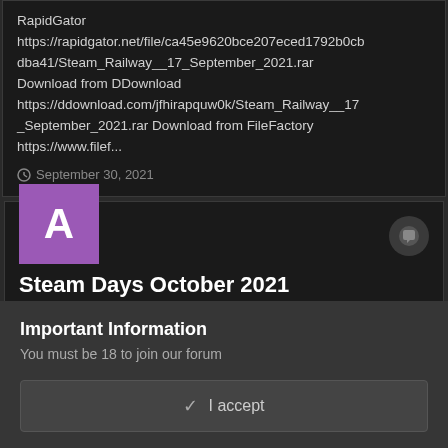RapidGator https://rapidgator.net/file/ca45e9620bce207eced1792b0cbdba41/Steam_Railway__17_September_2021.rar Download from DDownload https://ddownload.com/jfhirapquw0k/Steam_Railway__17_September_2021.rar Download from FileFactory https://www.filef...
September 30, 2021
[Figure (screenshot): Post card showing avatar letter A in purple square, speech bubble icon, title 'Steam Days October 2021', and green author text below]
Important Information
You must be 18 to join our forum
I accept